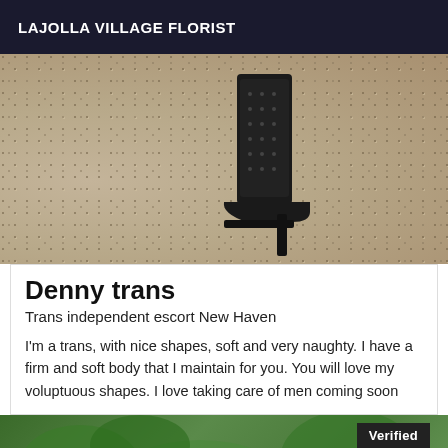LAJOLLA VILLAGE FLORIST
[Figure (photo): Close-up photo of legs wearing black high-heeled boots standing on a speckled stone/terrazzo floor]
Denny trans
Trans independent escort New Haven
I'm a trans, with nice shapes, soft and very naughty. I have a firm and soft body that I maintain for you. You will love my voluptuous shapes. I love taking care of men coming soon
[Figure (photo): Photo of a person outdoors with green foliage background, with a 'Verified' badge overlay in the top right corner]